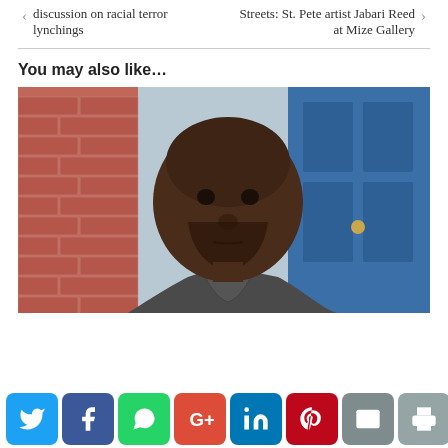discussion on racial terror lynchings
Streets: St. Pete artist Jabari Reed at Mize Gallery
You may also like…
[Figure (photo): Portrait of a Black man in a grey pinstripe suit with a pink tie, standing in front of a brick wall and a blue door.]
[Figure (infographic): Social media sharing buttons: Twitter (blue), Facebook (dark blue), WhatsApp (green), Google+ (red), LinkedIn (blue), Pinterest (dark red), Email (grey), Print (grey), and a scroll-to-top button (dark grey circle with up arrow).]